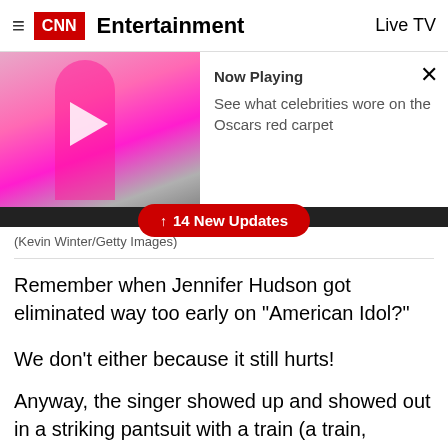CNN Entertainment   Live TV
[Figure (screenshot): Video thumbnail showing a woman in a bright pink gown on a red carpet, with a play button overlay. Now Playing panel on the right reads: 'Now Playing — See what celebrities wore on the Oscars red carpet'. Close button (×) in top right.]
(Kevin Winter/Getty Images)
↑  14 New Updates
Remember when Jennifer Hudson got eliminated way too early on "American Idol?"
We don't either because it still hurts!
Anyway, the singer showed up and showed out in a striking pantsuit with a train (a train, people!) to perform the song "I'll Fight," from the CNN Films documentary "RBG."